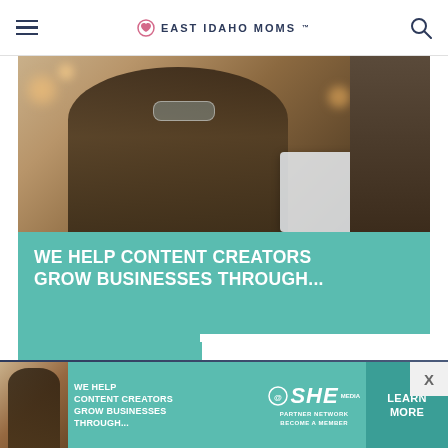East Idaho Moms
[Figure (photo): A smiling woman with curly hair and glasses holding a tablet, in a cafe setting with warm bokeh lights in background]
WE HELP CONTENT CREATORS GROW BUSINESSES THROUGH...
[Figure (infographic): Bottom advertisement banner: SHE Media Partner Network - We Help Content Creators Grow Businesses Through... with Learn More button]